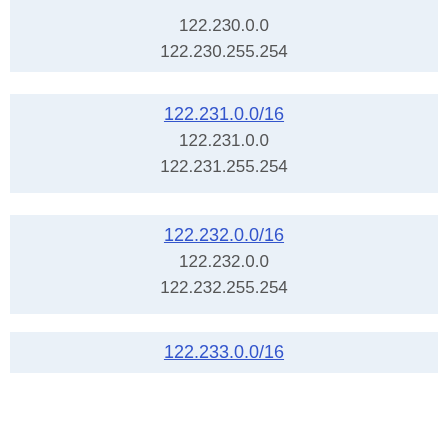122.230.0.0
122.230.255.254
122.231.0.0/16
122.231.0.0
122.231.255.254
122.232.0.0/16
122.232.0.0
122.232.255.254
122.233.0.0/16